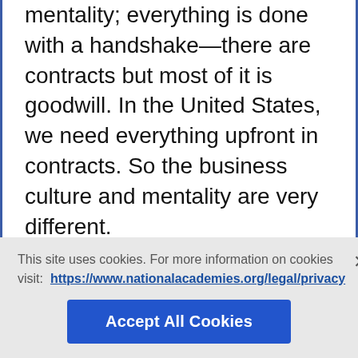mentality; everything is done with a handshake—there are contracts but most of it is goodwill. In the United States, we need everything upfront in contracts. So the business culture and mentality are very different.
Creatively, you want to protect the properties that are developed in Japan; at the same time, you need to explain to the Japan side that certain things need to be changed for localization. So it's about having that understanding and being able to see a project from both perspectives and, also, as a fan and a producer, to determine how to
This site uses cookies. For more information on cookies visit: https://www.nationalacademies.org/legal/privacy